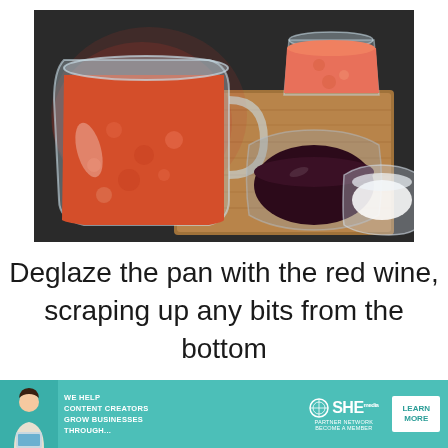[Figure (photo): Overhead photo of cooking ingredients on a wooden cutting board on a dark countertop: a large glass measuring jug filled with red tomato sauce (left), a small jar of tomato paste (upper right), a small bowl of dark red wine (lower center), and a small clear cup of salt (lower right).]
Deglaze the pan with the red wine, scraping up any bits from the bottom
[Figure (infographic): Advertisement banner: teal/turquoise background. Shows a woman with a laptop on the left. Text reads 'WE HELP CONTENT CREATORS GROW BUSINESSES THROUGH...' SHE Media Partner Network logo in center with 'BECOME A MEMBER' text. White 'LEARN MORE' button on the right.]